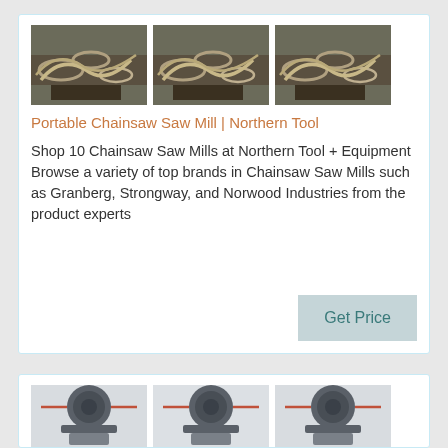[Figure (photo): Three photos of chainsaw saw mill chain/blade components in a row]
Portable Chainsaw Saw Mill | Northern Tool
Shop 10 Chainsaw Saw Mills at Northern Tool + Equipment Browse a variety of top brands in Chainsaw Saw Mills such as Granberg, Strongway, and Norwood Industries from the product experts
[Figure (photo): Three photos of industrial machinery (cone crusher / mill equipment) in a row]
Home - Washington Chain & Supply